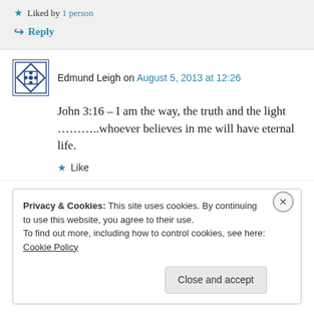★ Liked by 1 person
↪ Reply
Edmund Leigh on August 5, 2013 at 12:26
John 3:16 – I am the way, the truth and the light ………..whoever believes in me will have eternal life.
★ Like
Privacy & Cookies: This site uses cookies. By continuing to use this website, you agree to their use. To find out more, including how to control cookies, see here: Cookie Policy
Close and accept